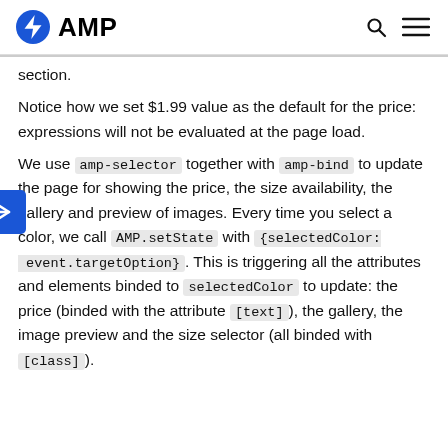AMP
section.
Notice how we set $1.99 value as the default for the price: expressions will not be evaluated at the page load.
We use amp-selector together with amp-bind to update the page for showing the price, the size availability, the gallery and preview of images. Every time you select a color, we call AMP.setState with {selectedColor: event.targetOption}. This is triggering all the attributes and elements binded to selectedColor to update: the price (binded with the attribute [text]), the gallery, the image preview and the size selector (all binded with [class]).